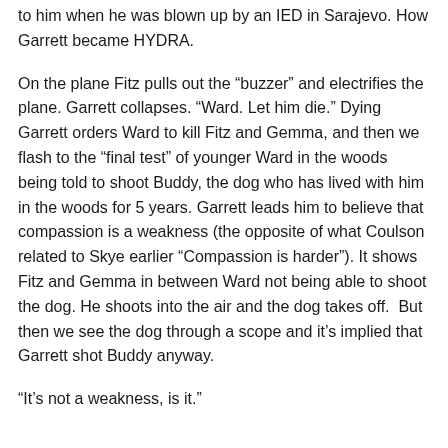to him when he was blown up by an IED in Sarajevo. How Garrett became HYDRA.
On the plane Fitz pulls out the “buzzer” and electrifies the plane. Garrett collapses. “Ward. Let him die.” Dying Garrett orders Ward to kill Fitz and Gemma, and then we flash to the “final test” of younger Ward in the woods being told to shoot Buddy, the dog who has lived with him in the woods for 5 years. Garrett leads him to believe that compassion is a weakness (the opposite of what Coulson related to Skye earlier “Compassion is harder”). It shows Fitz and Gemma in between Ward not being able to shoot the dog. He shoots into the air and the dog takes off.  But then we see the dog through a scope and it’s implied that Garrett shot Buddy anyway.
“It’s not a weakness, is it.”